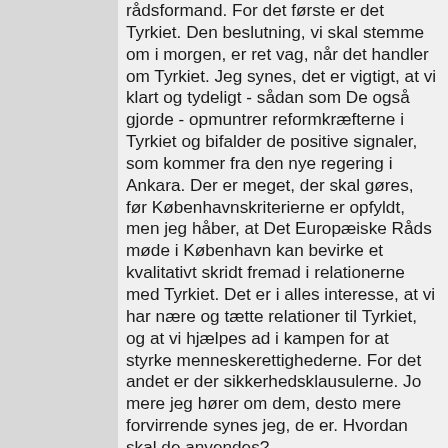rådsformand. For det første er det Tyrkiet. Den beslutning, vi skal stemme om i morgen, er ret vag, når det handler om Tyrkiet. Jeg synes, det er vigtigt, at vi klart og tydeligt - sådan som De også gjorde - opmuntrer reformkræfterne i Tyrkiet og bifalder de positive signaler, som kommer fra den nye regering i Ankara. Der er meget, der skal gøres, før Københavnskriteríerne er opfyldt, men jeg håber, at Det Europæiske Råds møde i København kan bevirke et kvalitativt skridt fremad i relationerne med Tyrkiet. Det er i alles interesse, at vi har nære og tætte relationer til Tyrkiet, og at vi hjælpes ad i kampen for at styrke menneskerettighederne. For det andet er der sikkerhedsklausulerne. Jo mere jeg hører om dem, desto mere forvirrende synes jeg, de er. Hvordan skal de anvendes?